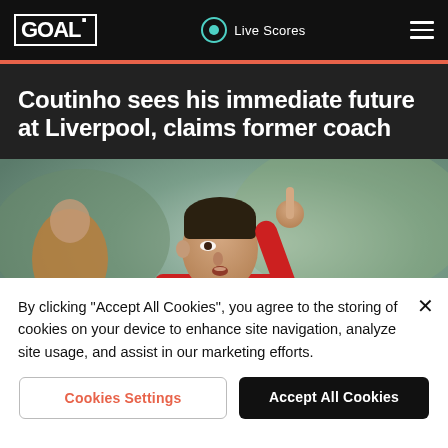GOAL · Live Scores
Coutinho sees his immediate future at Liverpool, claims former coach
[Figure (photo): Football player in red Liverpool kit raising a finger, with another player visible in background]
By clicking "Accept All Cookies", you agree to the storing of cookies on your device to enhance site navigation, analyze site usage, and assist in our marketing efforts.
Cookies Settings | Accept All Cookies